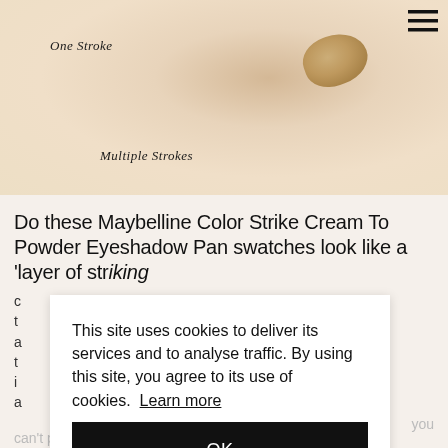[Figure (photo): Close-up photo of skin with a golden shimmer eyeshadow swatch, annotated with handwritten-style text 'One Stroke' at upper left and 'Multiple Strokes' at lower center.]
Do these Maybelline Color Strike Cream To Powder Eyeshadow Pan swatches look like a 'layer of striking c... g up t... duct, a... hose t... aupe i... flat
This site uses cookies to deliver its services and to analyse traffic. By using this site, you agree to its use of cookies. Learn more
OK
you
can't push the sponge into the product to pick up